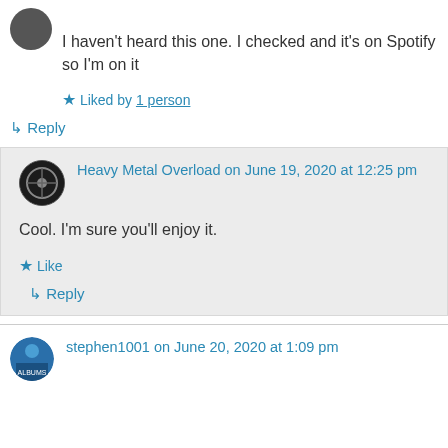I haven't heard this one. I checked and it's on Spotify so I'm on it
★ Liked by 1 person
↩ Reply
Heavy Metal Overload on June 19, 2020 at 12:25 pm
Cool. I'm sure you'll enjoy it.
★ Like
↩ Reply
stephen1001 on June 20, 2020 at 1:09 pm